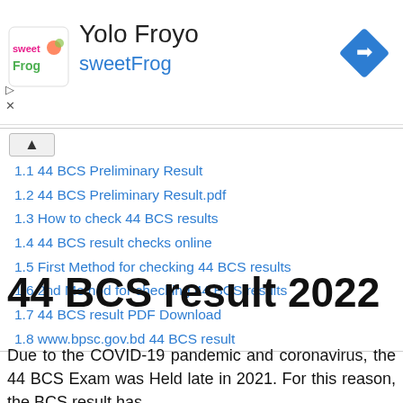[Figure (logo): sweetFrog logo with colorful text and icon]
Yolo Froyo
sweetFrog
1.1 44 BCS Preliminary Result
1.2 44 BCS Preliminary Result.pdf
1.3 How to check 44 BCS results
1.4 44 BCS result checks online
1.5 First Method for checking 44 BCS results
1.6 2nd Method for checking 44 BCS results
1.7 44 BCS result PDF Download
1.8 www.bpsc.gov.bd 44 BCS result
44 BCS result 2022
Due to the COVID-19 pandemic and coronavirus, the 44 BCS Exam was Held late in 2021. For this reason, the BCS result has